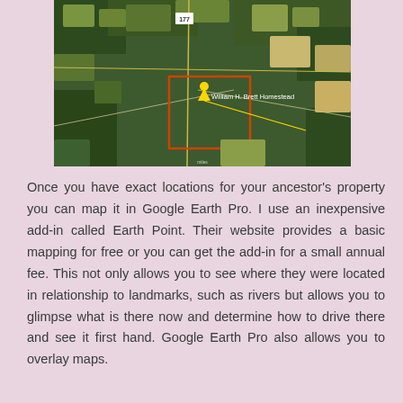[Figure (map): Aerial satellite map showing rural farmland with a yellow pin marker labeled 'William H. Brett Homestead' and an orange rectangular boundary highlighting the homestead location. A yellow line extends from the marker. Route 177 is visible near the top of the map.]
Once you have exact locations for your ancestor's property you can map it in Google Earth Pro. I use an inexpensive add-in called Earth Point. Their website provides a basic mapping for free or you can get the add-in for a small annual fee. This not only allows you to see where they were located in relationship to landmarks, such as rivers but allows you to glimpse what is there now and determine how to drive there and see it first hand. Google Earth Pro also allows you to overlay maps.